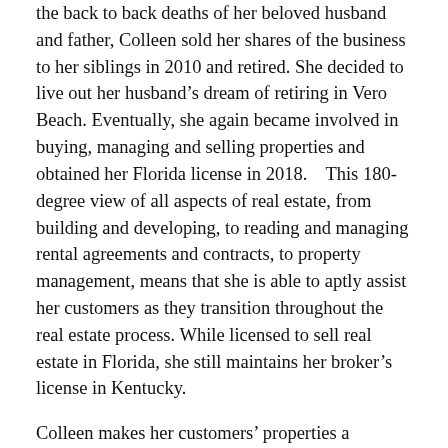the back to back deaths of her beloved husband and father, Colleen sold her shares of the business to her siblings in 2010 and retired. She decided to live out her husband's dream of retiring in Vero Beach. Eventually, she again became involved in buying, managing and selling properties and obtained her Florida license in 2018.    This 180-degree view of all aspects of real estate, from building and developing, to reading and managing rental agreements and contracts, to property management, means that she is able to aptly assist her customers as they transition throughout the real estate process. While licensed to sell real estate in Florida, she still maintains her broker's license in Kentucky.
Colleen makes her customers' properties a priority, using the many exclusive marketing and advertising tools provided by Dale Sorensen Real Estate to market their properties locally and globally.  Using market research and local real estate trends, Colleen helps her customers to price their properties for sale in order to achieve the fastest sale at the highest price point.
Colleen loves living in Vero Beach where every day is paradise.  "I love the charming, small town feel of Vero Beach, yet it has all the amenities you could find in a much larger city."